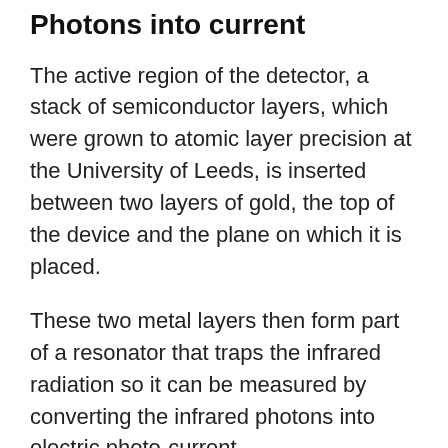Photons into current
The active region of the detector, a stack of semiconductor layers, which were grown to atomic layer precision at the University of Leeds, is inserted between two layers of gold, the top of the device and the plane on which it is placed.
These two metal layers then form part of a resonator that traps the infrared radiation so it can be measured by converting the infrared photons into electric photo-current.
In existing detectors, the dark current can be so large that it completely masks the photo-current and requires the use of expensive cryogenic cooling to try to reduce the problem, which also adds considerable size and mass. The now